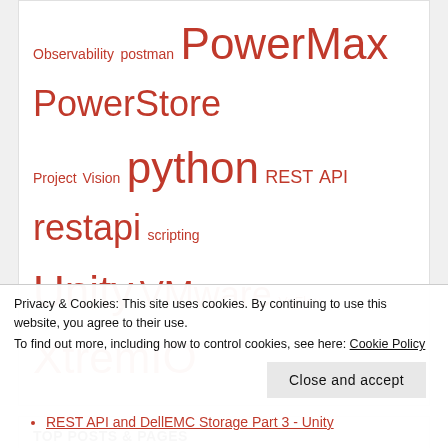Observability postman PowerMax PowerStore Project Vision python REST API restapi scripting Unity VMware VxFlex XtremIO
TOP POSTS & PAGES
Creating ServiceNow Incidents via REST API
Ansible URI Response JSON Data Parsing
Fix Error - ImportError: No module named packages.urllib3.exceptions
Postman Collections for DellEMC Platforms
Intro to Redfish API on Dell servers
Databases and Integrated Copy Data Management (iCDM)
Privacy & Cookies: This site uses cookies. By continuing to use this website, you agree to their use.
To find out more, including how to control cookies, see here: Cookie Policy
Close and accept
REST API and DellEMC Storage Part 3 - Unity